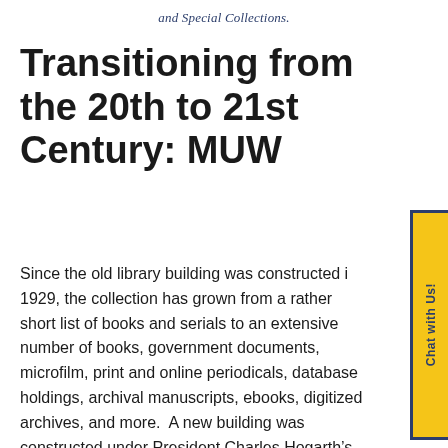and Special Collections.
Transitioning from the 20th to 21st Century: MUW
Since the old library building was constructed in 1929, the collection has grown from a rather short list of books and serials to an extensive number of books, government documents, microfilm, print and online periodicals, database holdings, archival manuscripts, ebooks, digitized archives, and more.  A new building was constructed under President Charles Hogarth's administration in 1969, and the new wealth of materials was moved from the old library to the